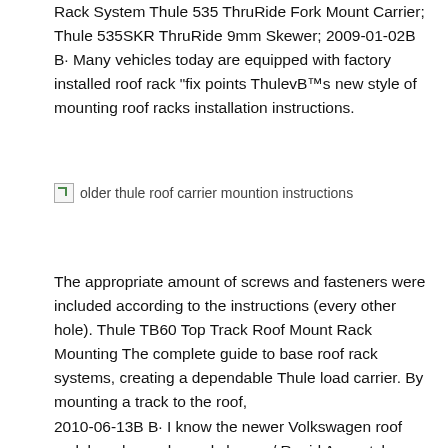Rack System Thule 535 ThruRide Fork Mount Carrier; Thule 535SKR ThruRide 9mm Skewer; 2009-01-02B В· Many vehicles today are equipped with factory installed roof rack "fix points ThulevB™s new style of mounting roof racks installation instructions.
[Figure (photo): Broken image placeholder with alt text: older thule roof carrier mountion instructions]
The appropriate amount of screws and fasteners were included according to the instructions (every other hole). Thule TB60 Top Track Roof Mount Rack Mounting The complete guide to base roof rack systems, creating a dependable Thule load carrier. By mounting a track to the roof,
2010-06-13B В· I know the newer Volkswagen roof rack bars have channels bars w/ Rapid Aero style Thule Carriers the